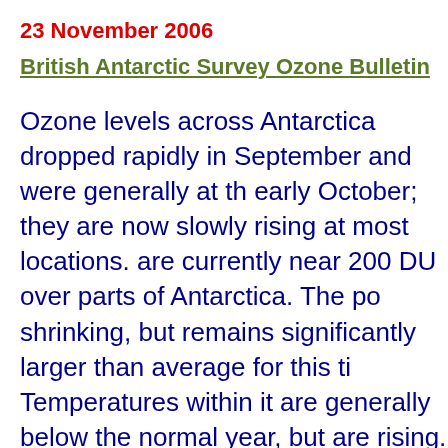23 November 2006
British Antarctic Survey Ozone Bulletin
Ozone levels across Antarctica dropped rapidly in September and were generally at their early October; they are now slowly rising at most locations. are currently near 200 DU over parts of Antarctica. The po shrinking, but remains significantly larger than average for this ti Temperatures within it are generally below the normal year, but are rising. The ozone hole grew rapidly from mid Augu nearly 28 million square kilometres in size at the equinox. The o